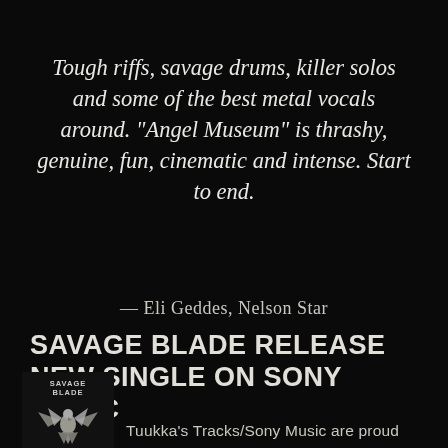Tough riffs, savage drums, killer solos and some of the best metal vocals around. “Angel Museum” is thrashy, genuine, fun, cinematic and intense. Start to end.
— Eli Geddes, Nelson Star
SAVAGE BLADE RELEASE NEW SINGLE ON SONY MUSIC
[Figure (logo): Savage Blade band logo with stylized eagle/bird emblem in dark grunge style]
Tuukka's Tracks/Sony Music are proud